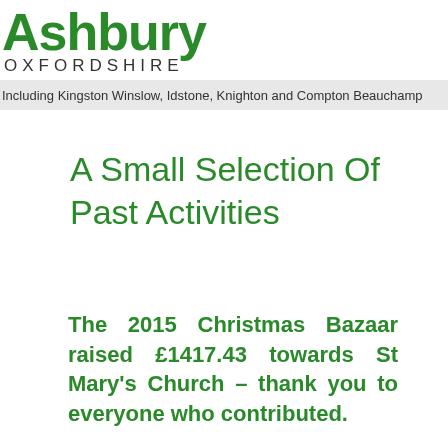Ashbury OXFORDSHIRE
Including Kingston Winslow, Idstone, Knighton and Compton Beauchamp
A Small Selection Of Past Activities
The 2015 Christmas Bazaar raised £1417.43 towards St Mary's Church – thank you to everyone who contributed.